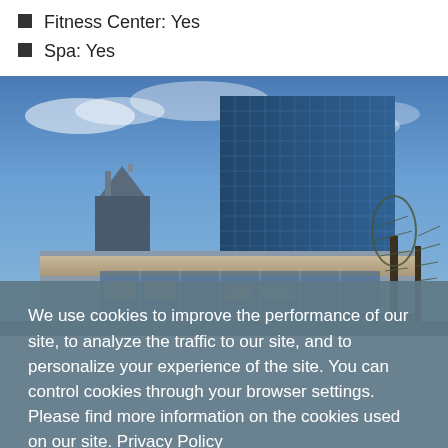Fitness Center: Yes
Spa: Yes
[Figure (photo): Exterior photograph of a JW Marriott hotel — a tall modern glass skyscraper at dusk with blue sky and bare trees, urban downtown setting]
We use cookies to improve the performance of our site, to analyze the traffic to our site, and to personalize your experience of the site. You can control cookies through your browser settings. Please find more information on the cookies used on our site. Privacy Policy